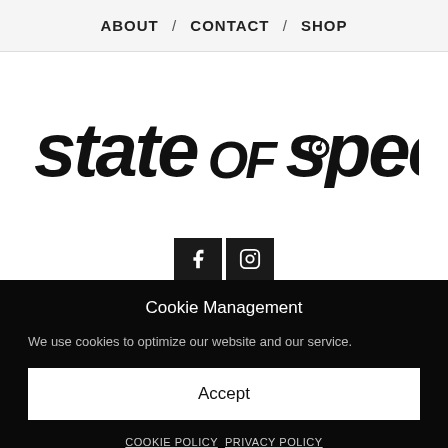ABOUT / CONTACT / SHOP
[Figure (logo): State of Speed stylized logo in black italic font]
[Figure (infographic): Two social media icon buttons (Facebook and Instagram) on black background]
Cookie Management
We use cookies to optimize our website and our service.
Accept
COOKIE POLICY  PRIVACY POLICY